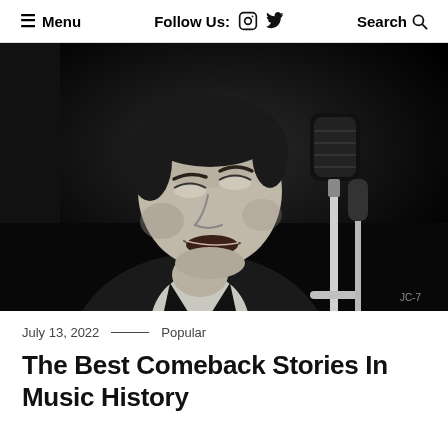≡ Menu   Follow Us: [Instagram] [Twitter]   Search 🔍
[Figure (photo): Black and white photograph of a male musician performing on stage, looking upward with eyes closed, singing into a vintage microphone. He is wearing a dark jacket and white shirt. Watermark 'JC-7' visible in bottom right corner.]
July 13, 2022 — Popular
The Best Comeback Stories In Music History